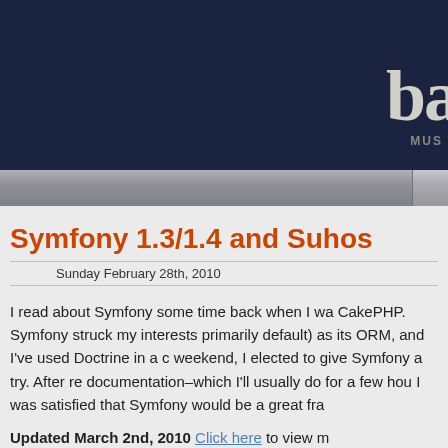[Figure (screenshot): Website header banner with dark navy background, partial logo text 'ba' in light cream color, and 'MUS' subtitle text]
Symfony 1.3/1.4 and Suhos
Sunday February 28th, 2010
I read about Symfony some time back when I wa CakePHP. Symfony struck my interests primarily default) as its ORM, and I've used Doctrine in a weekend, I elected to give Symfony a try. After re documentation–which I'll usually do for a few hou I was satisfied that Symfony would be a great fra
Updated March 2nd, 2010  Click here to view m